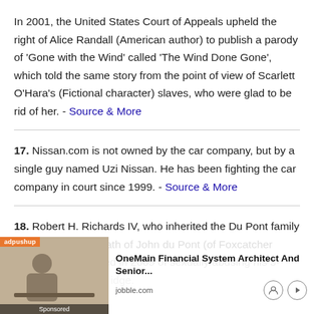In 2001, the United States Court of Appeals upheld the right of Alice Randall (American author) to publish a parody of 'Gone with the Wind' called 'The Wind Done Gone', which told the same story from the point of view of Scarlett O'Hara's (Fictional character) slaves, who were glad to be rid of her. - Source & More
17. Nissan.com is not owned by the car company, but by a single guy named Uzi Nissan. He has been fighting the car company in court since 1999. - Source & More
18. Robert H. Richards IV, who inherited the Du Pont family fortune after the death of John du Pont (of Foxcatcher fame), was convicted in 2009 of sexually abusing his 3-year-old daughter... judge claimed... Source & More
[Figure (infographic): Sponsored advertisement overlay: adpushup banner with job listing for 'OneMain Financial System Architect And Senior...' from jobble.com with face icon and play button]